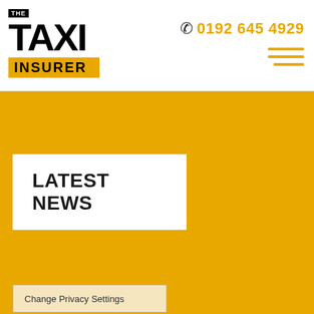[Figure (logo): The Taxi Insurer logo — black block letters TAXI with THE above in white on black banner, INSURER on yellow bar below]
0192 645 4929
[Figure (other): Hamburger menu icon — three horizontal yellow lines]
LATEST NEWS
Change Privacy Settings